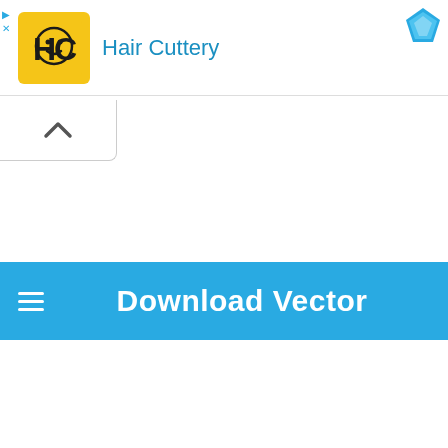[Figure (screenshot): Hair Cuttery advertisement banner with yellow HC logo, blue 'Hair Cuttery' text, and a blue diamond/Sketch icon in the top right. Small play and close (x) icons on the left.]
[Figure (screenshot): A collapse/chevron-up button with upward arrow in a rounded rectangle tab.]
Download Vector